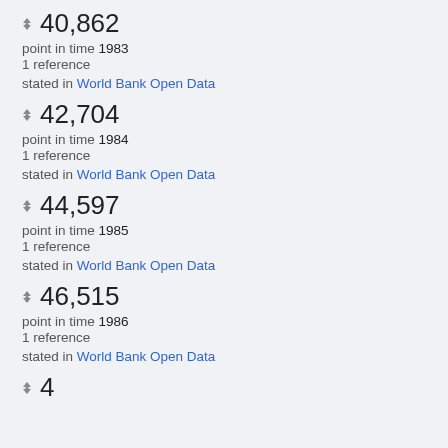40,862
point in time 1983
1 reference
stated in World Bank Open Data
42,704
point in time 1984
1 reference
stated in World Bank Open Data
44,597
point in time 1985
1 reference
stated in World Bank Open Data
46,515
point in time 1986
1 reference
stated in World Bank Open Data